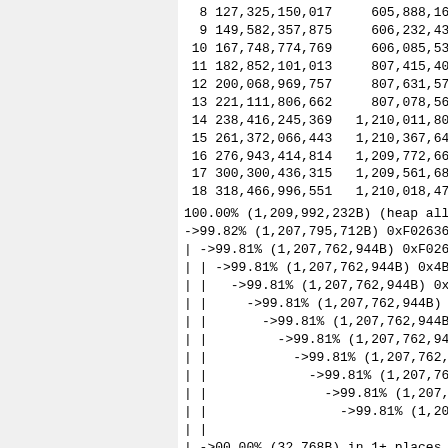| n | time(i) | total(B) | usef |
| --- | --- | --- | --- |
| 8 | 127,325,150,017 | 605,888,168 |  |
| 9 | 149,582,357,875 | 606,232,432 |  |
| 10 | 167,748,774,769 | 606,085,536 |  |
| 11 | 182,852,101,013 | 807,415,400 |  |
| 12 | 200,068,969,757 | 807,631,576 |  |
| 13 | 221,111,806,662 | 807,078,560 |  |
| 14 | 238,416,245,369 | 1,210,011,800 | 1, |
| 15 | 261,372,066,443 | 1,210,367,640 | 1, |
| 16 | 276,943,414,814 | 1,209,772,664 | 1, |
| 17 | 300,300,436,315 | 1,209,561,680 | 1, |
| 18 | 318,466,996,551 | 1,210,018,472 | 1, |
100.00% (1,209,992,232B) (heap allocation
->99.82% (1,207,795,712B) 0xF02636: av_rea
| ->99.81% (1,207,762,944B) 0xF02673: av_r
| | ->99.81% (1,207,762,944B) 0x4BC98E: ff
| |   ->99.81% (1,207,762,944B) 0x4BDF43:
| |     ->99.81% (1,207,762,944B) 0x4BE2D7
| |       ->99.81% (1,207,762,944B) 0x4DC5
| |         ->99.81% (1,207,762,944B) 0x2E
| |           ->99.81% (1,207,762,944B) 0x
| |             ->99.81% (1,207,762,944B)
| |               ->99.81% (1,207,762,944B
| |                 ->99.81% (1,207,762,94
| |
| ->00.00% (32,768B) in 1+ places, all bel
|
->00.18% (2,196,520B) in 1+ places, all be
| n | time(i) | total(B) | usef |
| --- | --- | --- | --- |